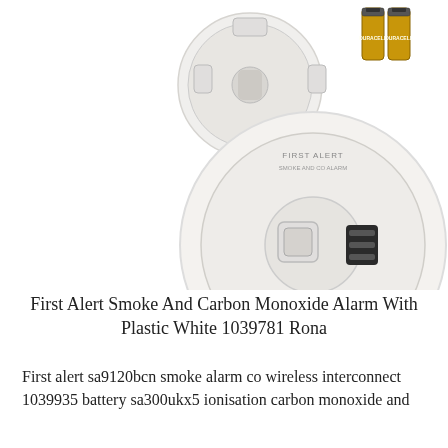[Figure (photo): Product photo of a First Alert smoke and carbon monoxide alarm. Shows the circular white alarm unit (front face with test button and sensor grille), a circular white mounting bracket, two Duracell batteries, two red wall plugs, and two silver screws arranged on a white background.]
First Alert Smoke And Carbon Monoxide Alarm With Plastic White 1039781 Rona
First alert sa9120bcn smoke alarm co wireless interconnect 1039935 battery sa300ukx5 ionisation carbon monoxide and